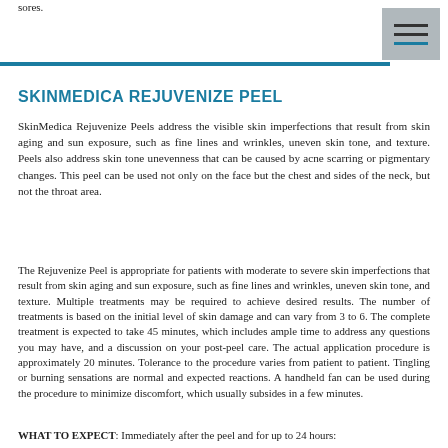sores.
SKINMEDICA REJUVENIZE PEEL
SkinMedica Rejuvenize Peels address the visible skin imperfections that result from skin aging and sun exposure, such as fine lines and wrinkles, uneven skin tone, and texture. Peels also address skin tone unevenness that can be caused by acne scarring or pigmentary changes. This peel can be used not only on the face but the chest and sides of the neck, but not the throat area.
The Rejuvenize Peel is appropriate for patients with moderate to severe skin imperfections that result from skin aging and sun exposure, such as fine lines and wrinkles, uneven skin tone, and texture. Multiple treatments may be required to achieve desired results. The number of treatments is based on the initial level of skin damage and can vary from 3 to 6. The complete treatment is expected to take 45 minutes, which includes ample time to address any questions you may have, and a discussion on your post-peel care. The actual application procedure is approximately 20 minutes. Tolerance to the procedure varies from patient to patient. Tingling or burning sensations are normal and expected reactions. A handheld fan can be used during the procedure to minimize discomfort, which usually subsides in a few minutes.
WHAT TO EXPECT: Immediately after the peel and for up to 24 hours: